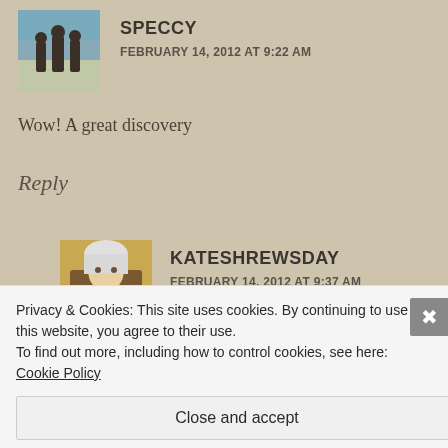SPECCY
FEBRUARY 14, 2012 AT 9:22 AM
Wow! A great discovery
Reply
KATESHREWSDAY
FEBRUARY 14, 2012 AT 9:37 AM
It was and oh thanks to Colin, I would never have
Privacy & Cookies: This site uses cookies. By continuing to use this website, you agree to their use.
To find out more, including how to control cookies, see here: Cookie Policy
Close and accept